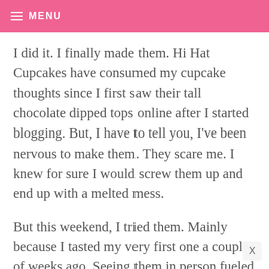MENU
I did it. I finally made them. Hi Hat Cupcakes have consumed my cupcake thoughts since I first saw their tall chocolate dipped tops online after I started blogging. But, I have to tell you, I've been nervous to make them. They scare me. I knew for sure I would screw them up and end up with a melted mess.
But this weekend, I tried them. Mainly because I tasted my very first one a couple of weeks ago. Seeing them in person fueled my fascination.
So I decided to use the only recipe I remembered